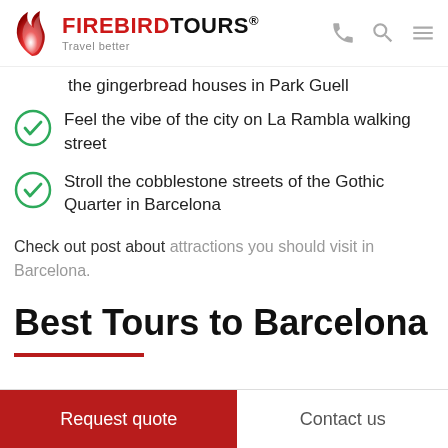FIREBIRD TOURS® Travel better
the gingerbread houses in Park Guell
Feel the vibe of the city on La Rambla walking street
Stroll the cobblestone streets of the Gothic Quarter in Barcelona
Check out post about attractions you should visit in Barcelona.
Best Tours to Barcelona
Request quote
Contact us